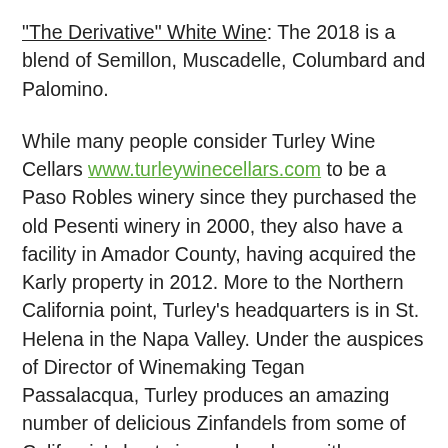"The Derivative" White Wine: The 2018 is a blend of Semillon, Muscadelle, Columbard and Palomino.
While many people consider Turley Wine Cellars www.turleywinecellars.com to be a Paso Robles winery since they purchased the old Pesenti winery in 2000, they also have a facility in Amador County, having acquired the Karly property in 2012. More to the Northern California point, Turley's headquarters is in St. Helena in the Napa Valley. Under the auspices of Director of Winemaking Tegan Passalacqua, Turley produces an amazing number of delicious Zinfandels from some of California's best vineyards, along with some Petite Syrahs, Cinsaults and even some Cabernet Sauvignon.